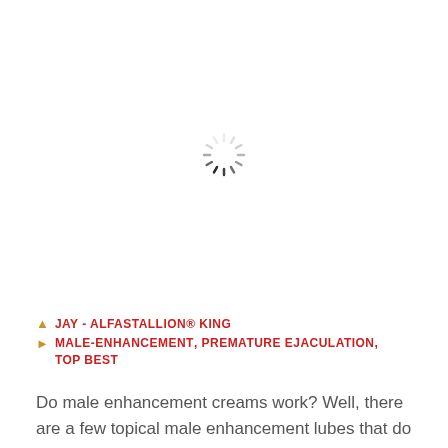[Figure (other): Loading spinner (circular animated loader) displayed in white area, partially faded radial lines in gray/dark pattern]
JAY - ALFASTALLION® KING
MALE-ENHANCEMENT, PREMATURE EJACULATION, TOP BEST
Do male enhancement creams work? Well, there are a few topical male enhancement lubes that do